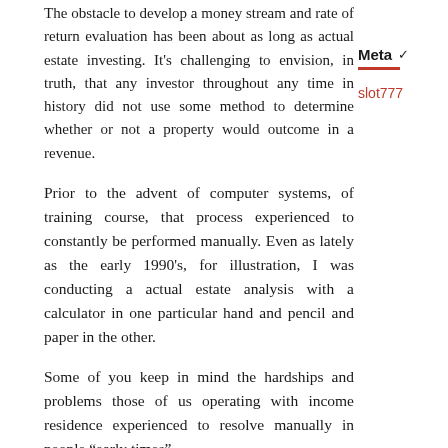The obstacle to develop a money stream and rate of return evaluation has been about as long as actual estate investing. It's challenging to envision, in truth, that any investor throughout any time in history did not use some method to determine whether or not a property would outcome in a revenue.
Meta
slot777
Prior to the advent of computer systems, of training course, that process experienced to constantly be performed manually. Even as lately as the early 1990's, for illustration, I was conducting a actual estate analysis with a calculator in one particular hand and pencil and paper in the other.
Some of you keep in mind the hardships and problems those of us operating with income residence experienced to resolve manually in people “early times”.
The Info